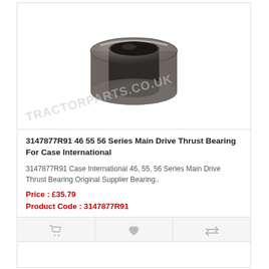[Figure (photo): A round thrust bearing (release bearing) shown from a top-front angle, metallic dark grey/steel color, circular shape with a hole in the center. Watermark text 'TRACTORPARTS.CO.UK' diagonally overlaid.]
3147877R91 46 55 56 Series Main Drive Thrust Bearing For Case International
3147877R91 Case International 46, 55, 56 Series Main Drive Thrust Bearing Original Supplier Bearing..
Price : £35.79
Product Code : 3147877R91